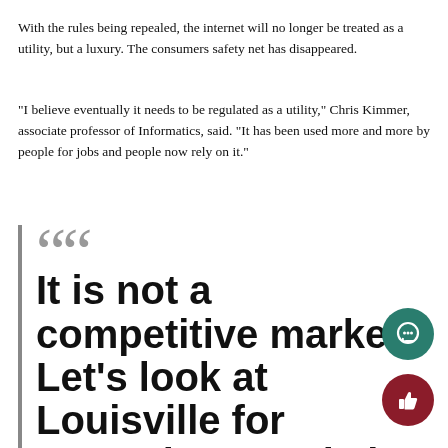With the rules being repealed, the internet will no longer be treated as a utility, but a luxury. The consumers safety net has disappeared.
“I believe eventually it needs to be regulated as a utility,” Chris Kimmer, associate professor of Informatics, said. “It has been used more and more by people for jobs and people now rely on it.”
““ It is not a competitive market. Let’s look at Louisville for example, Google is trying to get in and they’re having to fight Comcast, so the fact that the fight is happening shows i